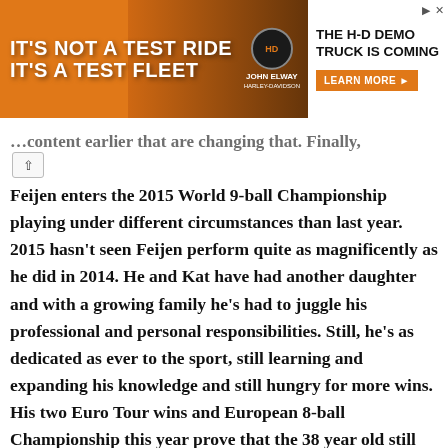[Figure (other): Advertisement banner for Harley-Davidson John Elway H-D Demo Truck featuring orange background with truck imagery and text 'IT'S NOT A TEST RIDE IT'S A TEST FLEET' on the left, HD logo with JOHN ELWAY text in center, and 'THE H-D DEMO TRUCK IS COMING' with 'LEARN MORE' button on the right.]
Feijen enters the 2015 World 9-ball Championship playing under different circumstances than last year. 2015 hasn't seen Feijen perform quite as magnificently as he did in 2014. He and Kat have had another daughter and with a growing family he's had to juggle his professional and personal responsibilities. Still, he's as dedicated as ever to the sport, still learning and expanding his knowledge and still hungry for more wins. His two Euro Tour wins and European 8-ball Championship this year prove that the 38 year old still has the goods to win anytime he steps into the arena.